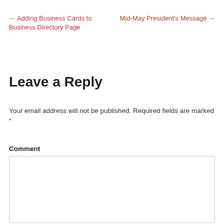← Adding Business Cards to Business Directory Page
Mid-May President's Message →
Leave a Reply
Your email address will not be published. Required fields are marked *
Comment